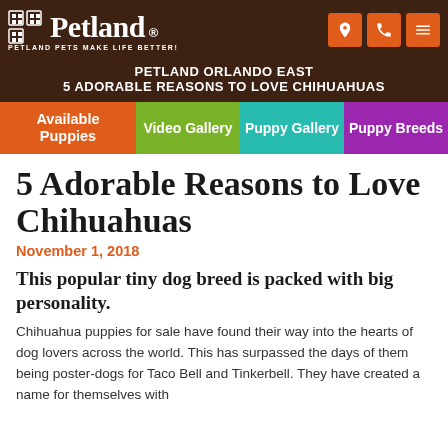Petland — PETLAND PETS MAKE LIFE BETTER!
PETLAND ORLANDO EAST
5 ADORABLE REASONS TO LOVE CHIHUAHUAS
Available Puppies | Video Gallery | Puppy Gallery | Puppy Breeds
5 Adorable Reasons to Love Chihuahuas
November 1, 2018
This popular tiny dog breed is packed with big personality.
Chihuahua puppies for sale have found their way into the hearts of dog lovers across the world. This has surpassed the days of them being poster-dogs for Taco Bell and Tinkerbell. They have created a name for themselves with